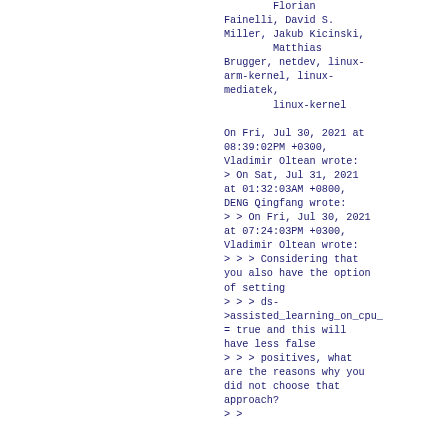Florian
Fainelli, David S.
Miller, Jakub Kicinski,
        Matthias
Brugger, netdev, linux-arm-kernel, linux-mediatek,
        linux-kernel

On Fri, Jul 30, 2021 at
08:39:02PM +0300,
Vladimir Oltean wrote:
> On Sat, Jul 31, 2021
at 01:32:03AM +0800,
DENG Qingfang wrote:
> > On Fri, Jul 30, 2021
at 07:24:03PM +0300,
Vladimir Oltean wrote:
> > > Considering that
you also have the option
of setting
> > > ds->assisted_learning_on_cpu_= true and this will
have less false
> > > positives, what
are the reasons why you
did not choose that
approach?
> >